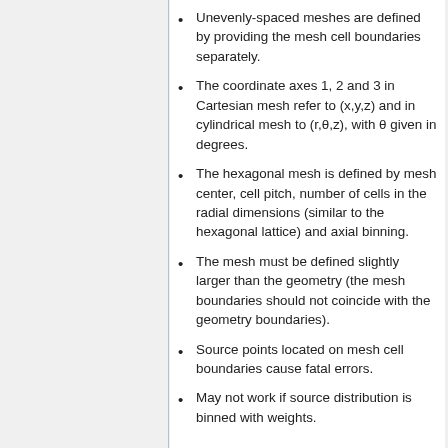Unevenly-spaced meshes are defined by providing the mesh cell boundaries separately.
The coordinate axes 1, 2 and 3 in Cartesian mesh refer to (x,y,z) and in cylindrical mesh to (r,θ,z), with θ given in degrees.
The hexagonal mesh is defined by mesh center, cell pitch, number of cells in the radial dimensions (similar to the hexagonal lattice) and axial binning.
The mesh must be defined slightly larger than the geometry (the mesh boundaries should not coincide with the geometry boundaries).
Source points located on mesh cell boundaries cause fatal errors.
May not work if source distribution is binned with weights.